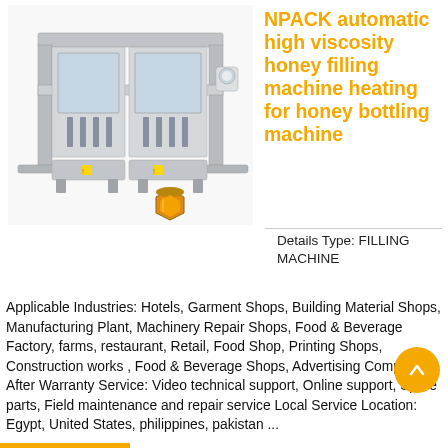[Figure (photo): Industrial NPACK automatic honey filling machine with stainless steel frame and multiple filling nozzles, with a honey jar in front]
NPACK automatic high viscosity honey filling machine heating for honey bottling machine
Details Type: FILLING MACHINE
Applicable Industries: Hotels, Garment Shops, Building Material Shops, Manufacturing Plant, Machinery Repair Shops, Food & Beverage Factory, farms, restaurant, Retail, Food Shop, Printing Shops, Construction works , Food & Beverage Shops, Advertising Company After Warranty Service: Video technical support, Online support, Spare parts, Field maintenance and repair service Local Service Location: Egypt, United States, philippines, pakistan ...